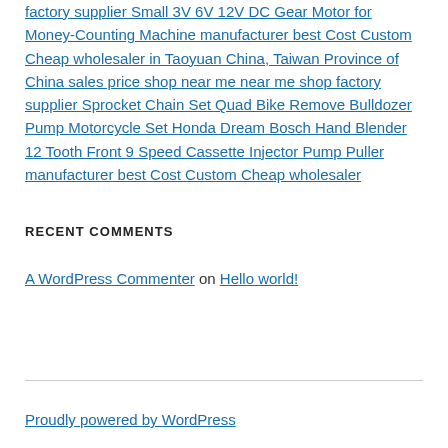factory supplier Small 3V 6V 12V DC Gear Motor for Money-Counting Machine manufacturer best Cost Custom Cheap wholesaler in Taoyuan China, Taiwan Province of China sales price shop near me near me shop factory supplier Sprocket Chain Set Quad Bike Remove Bulldozer Pump Motorcycle Set Honda Dream Bosch Hand Blender 12 Tooth Front 9 Speed Cassette Injector Pump Puller manufacturer best Cost Custom Cheap wholesaler
RECENT COMMENTS
A WordPress Commenter on Hello world!
Proudly powered by WordPress